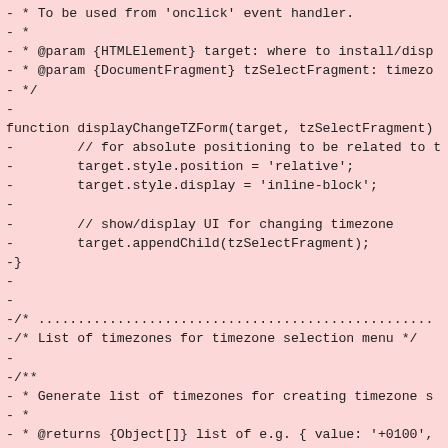[Figure (screenshot): A code diff screenshot on a pink/red background showing JavaScript source code with removed lines (prefixed with '-'). The code shows a function displayChangeTZForm and comments about a timezone list.]